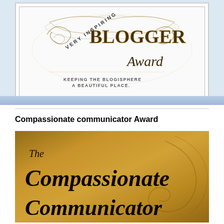[Figure (illustration): Very Inspiring Blogger Award certificate image with ornate decorative scrollwork, vintage typography reading 'BLOGGER Award' and 'VERY INSPIRING', with text 'KEEPING THE BLOGISPHERE A BEAUTIFUL PLACE.' at the bottom.]
Compassionate communicator Award
[Figure (illustration): The Compassionate Communicator award image on aged parchment/tan background with script text reading 'The Compassionate Communicator']